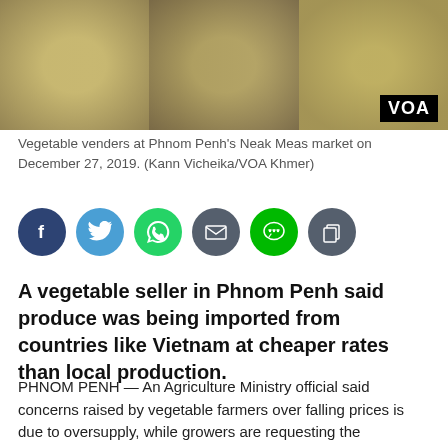[Figure (photo): Vegetable vendors at a market, showing produce such as corn and other vegetables. VOA logo badge in bottom right corner.]
Vegetable venders at Phnom Penh’s Neak Meas market on December 27, 2019. (Kann Vicheika/VOA Khmer)
[Figure (infographic): Row of six social media sharing icons: Facebook (dark blue), Twitter (light blue), WhatsApp (green), Email (dark gray), Line (green), Copy (dark gray)]
A vegetable seller in Phnom Penh said produce was being imported from countries like Vietnam at cheaper rates than local production.
PHNOM PENH — An Agriculture Ministry official said concerns raised by vegetable farmers over falling prices is due to oversupply, while growers are requesting the government to facilitate procurement mechanisms and diversification of crops.